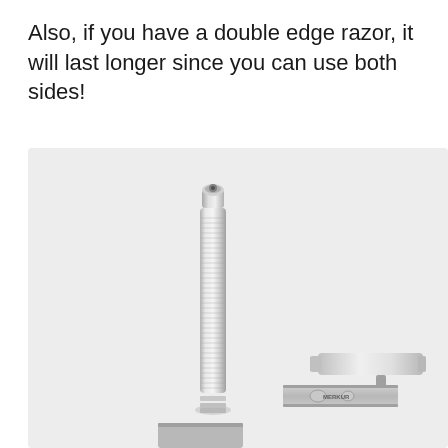Also, if you have a double edge razor, it will last longer since you can use both sides!
[Figure (photo): Disassembled double edge safety razor showing the metal handle (vertical, knurled), the razor head/top cap, and a Merkur razor blade, all on a light grey/white background.]